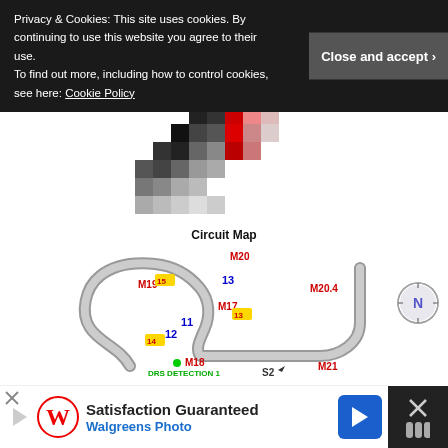Privacy & Cookies: This site uses cookies. By continuing to use this website you agree to their use.
To find out more, including how to control cookies, see here: Cookie Policy
Close and accept
[Figure (other): Pixelated circuit map thumbnail showing black and red colored pixel blocks arranged in a racing circuit pattern]
Circuit Map
[Figure (map): Racing circuit track map showing sections labeled M17, M18, M19, M20, M20.4, M21, corners labeled 11, 12, 13, 14, 15, S2, DRS Detection 1 marker in green, with north compass indicator on right side]
[Figure (other): Walgreens Photo advertisement banner: Satisfaction Guaranteed, Walgreens Photo with navigation arrow icon]